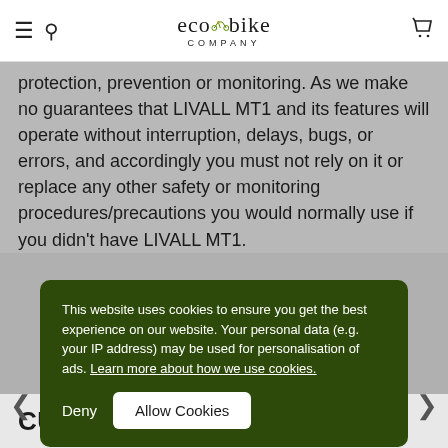ecobike COMPANY
protection, prevention or monitoring. As we make no guarantees that LIVALL MT1 and its features will operate without interruption, delays, bugs, or errors, and accordingly you must not rely on it or replace any other safety or monitoring procedures/precautions you would normally use if you didn’t have LIVALL MT1.
This website uses cookies to ensure you get the best experience on our website. Your personal data (e.g. your IP address) may be used for personalisation of ads. Learn more about how we use cookies.
CUSTOMER REVIEWS